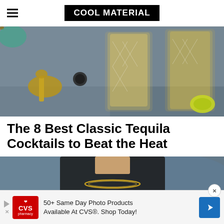COOL MATERIAL
[Figure (photo): Two tall patterned cocktail glasses filled with golden tequila drinks, a brass key bottle opener, a bottle cap, lime wedges on a granite surface]
The 8 Best Classic Tequila Cocktails to Beat the Heat
[Figure (photo): Man in black t-shirt with gold chain necklace against a blueish background]
50+ Same Day Photo Products Available At CVS®. Shop Today!